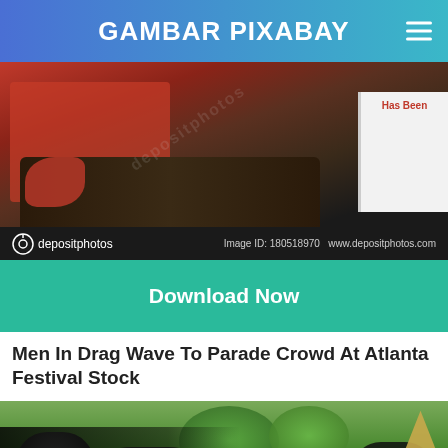GAMBAR PIXABAY
[Figure (photo): Stock photo of car trunk/body detail with red and dark elements, depositphotos watermark. Image ID: 180518970, www.depositphotos.com]
Download Now
Men In Drag Wave To Parade Crowd At Atlanta Festival Stock
[Figure (photo): Outdoor photo showing motorcycles/bicycles parked near trees with tropical vegetation in background and a tent structure on the right.]